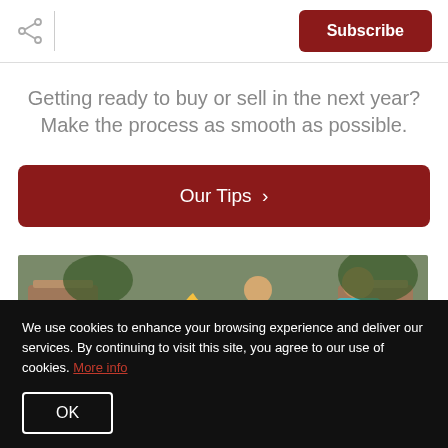Share | Subscribe
Getting ready to buy or sell in the next year? Make the process as smooth as possible.
Our Tips >
[Figure (photo): Two people sitting in Adirondack chairs around an outdoor fire pit, warm autumn setting.]
We use cookies to enhance your browsing experience and deliver our services. By continuing to visit this site, you agree to our use of cookies. More info
OK